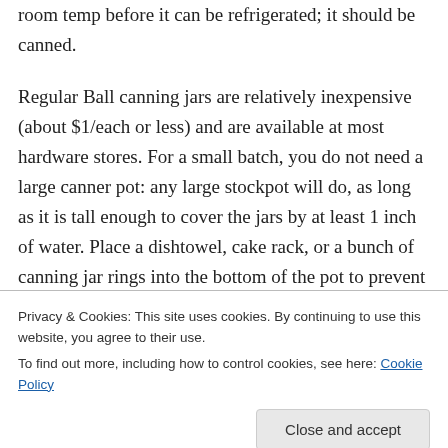room temp before it can be refrigerated; it should be canned.
Regular Ball canning jars are relatively inexpensive (about $1/each or less) and are available at most hardware stores. For a small batch, you do not need a large canner pot: any large stockpot will do, as long as it is tall enough to cover the jars by at least 1 inch of water. Place a dishtowel, cake rack, or a bunch of canning jar rings into the bottom of the pot to prevent the jars rattling (which can cause
Privacy & Cookies: This site uses cookies. By continuing to use this website, you agree to their use.
To find out more, including how to control cookies, see here: Cookie Policy
Close and accept
Bad Mummy on 8 December 2010 at 9:33 pm